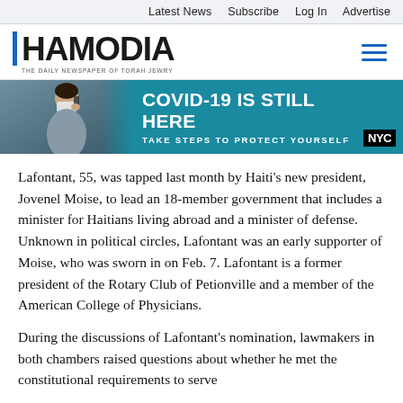Latest News   Subscribe   Log In   Advertise
[Figure (logo): Hamodia newspaper logo with blue vertical bar and tagline 'The Daily Newspaper of Torah Jewry']
[Figure (infographic): NYC COVID-19 public health banner ad. Photo of masked person on phone. Text: 'COVID-19 IS STILL HERE' and 'TAKE STEPS TO PROTECT YOURSELF'. NYC logo bottom right.]
Lafontant, 55, was tapped last month by Haiti's new president, Jovenel Moise, to lead an 18-member government that includes a minister for Haitians living abroad and a minister of defense. Unknown in political circles, Lafontant was an early supporter of Moise, who was sworn in on Feb. 7. Lafontant is a former president of the Rotary Club of Petionville and a member of the American College of Physicians.
During the discussions of Lafontant's nomination, lawmakers in both chambers raised questions about whether he met the constitutional requirements to serve